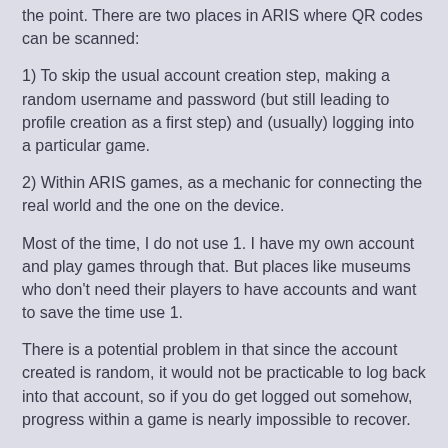the point. There are two places in ARIS where QR codes can be scanned:
1) To skip the usual account creation step, making a random username and password (but still leading to profile creation as a first step) and (usually) logging into a particular game.
2) Within ARIS games, as a mechanic for connecting the real world and the one on the device.
Most of the time, I do not use 1. I have my own account and play games through that. But places like museums who don't need their players to have accounts and want to save the time use 1.
There is a potential problem in that since the account created is random, it would not be practicable to log back into that account, so if you do get logged out somehow, progress within a game is nearly impossible to recover.
It sounds like that may be what's happening to you. Maybe a crash is causing you to get logged out.